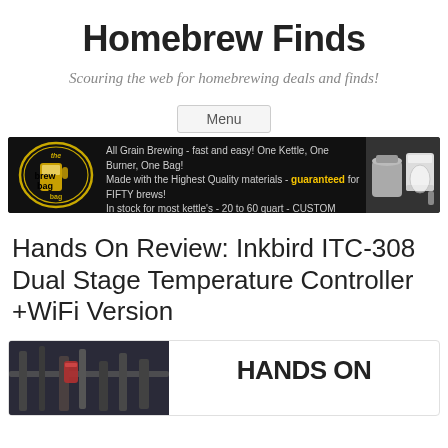Homebrew Finds
Scouring the web for homebrewing deals and finds!
Menu
[Figure (other): Brew Bag advertisement banner on black background. Logo on left, text in center, product photos on right. Text reads: All Grain Brewing - fast and easy! One Kettle, One Burner, One Bag! Made with the Highest Quality materials - guaranteed for FIFTY brews! In stock for most kettle's - 20 to 60 quart - CUSTOM made too. ELIMINATES stuck sparges - The NO-SPARGE brew tool!]
Hands On Review: Inkbird ITC-308 Dual Stage Temperature Controller +WiFi Version
[Figure (photo): Article preview image showing homebrewing equipment photo on left and bold text HANDS ON on right]